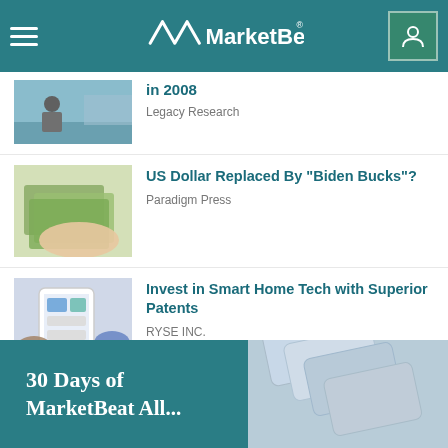MarketBeat
in 2008
Legacy Research
US Dollar Replaced By "Biden Bucks"?
Paradigm Press
Invest in Smart Home Tech with Superior Patents
RYSE INC.
30 Days of MarketBeat All...